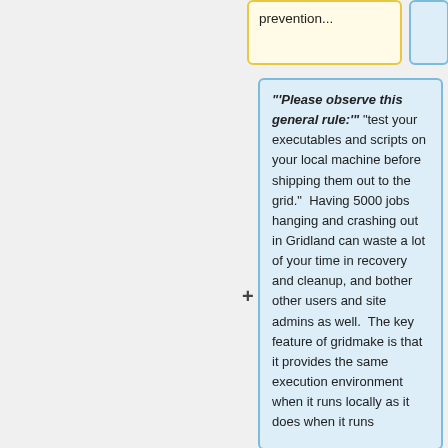prevention...
"'Please observe this general rule:'" "test your executables and scripts on your local machine before shipping them out to the grid."  Having 5000 jobs hanging and crashing out in Gridland can waste a lot of your time in recovery and cleanup, and bother other users and site admins as well.  The key feature of gridmake is that it provides the same execution environment when it runs locally as it does when it runs